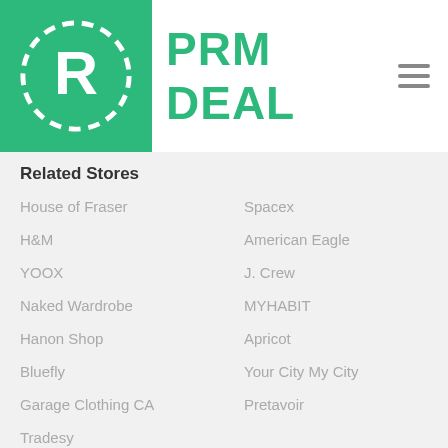PRM DEAL
Related Stores
House of Fraser
Spacex
H&M
American Eagle
YOOX
J. Crew
Naked Wardrobe
MYHABIT
Hanon Shop
Apricot
Bluefly
Your City My City
Garage Clothing CA
Pretavoir
Tradesy
Popular Stores
BuyNowOrNever.com Coupon ...
FearShop Coupons